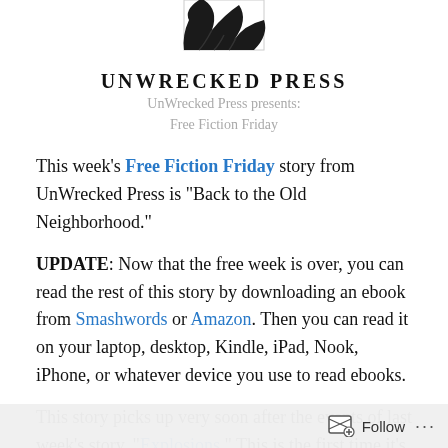[Figure (logo): UnWrecked Press logo: partial image of a bird/raven with dark feathers in upper portion, cropped at top]
UnWrecked Press
UnWrecked Press presents:
Free Fiction Friday
This week's Free Fiction Friday story from UnWrecked Press is “Back to the Old Neighborhood.”
UPDATE: Now that the free week is over, you can read the rest of this story by downloading an ebook from Smashwords or Amazon. Then you can read it on your laptop, desktop, Kindle, iPad, Nook, iPhone, or whatever device you use to read ebooks.
This story picks up very soon after the events of last week’s story, “Explosions.” This is the first time it’s been